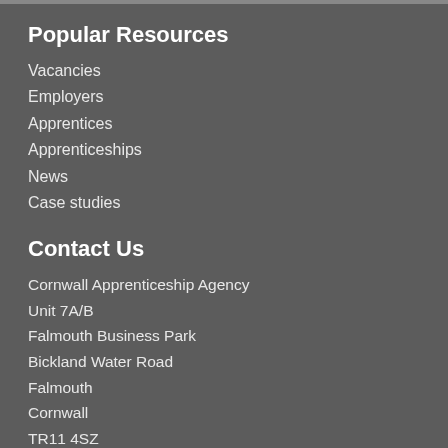Popular Resources
Vacancies
Employers
Apprentices
Apprenticeships
News
Case studies
Contact Us
Cornwall Apprenticeship Agency
Unit 7A/B
Falmouth Business Park
Bickland Water Road
Falmouth
Cornwall
TR11 4SZ
T: 01326 314904